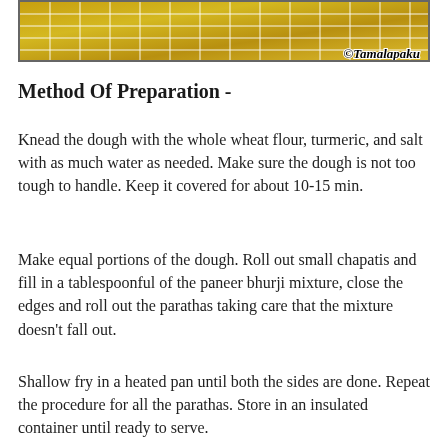[Figure (photo): Close-up photo of parathas with a yellow/golden geometric pattern, watermarked with ©Tamalapaku in the bottom right corner]
Method Of Preparation -
Knead the dough with the whole wheat flour, turmeric, and salt with as much water as needed. Make sure the dough is not too tough to handle. Keep it covered for about 10-15 min.
Make equal portions of the dough. Roll out small chapatis and fill in a tablespoonful of the paneer bhurji mixture, close the edges and roll out the parathas taking care that the mixture doesn't fall out.
Shallow fry in a heated pan until both the sides are done. Repeat the procedure for all the parathas. Store in an insulated container until ready to serve.